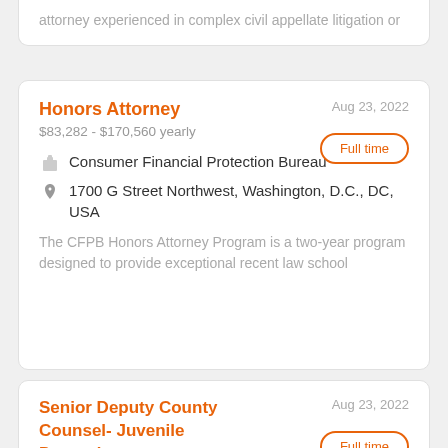attorney experienced in complex civil appellate litigation or
Honors Attorney
Aug 23, 2022
$83,282 - $170,560 yearly
Full time
Consumer Financial Protection Bureau
1700 G Street Northwest, Washington, D.C., DC, USA
The CFPB Honors Attorney Program is a two-year program designed to provide exceptional recent law school
Senior Deputy County Counsel- Juvenile Dependency
Aug 23, 2022
Full time
COUNTY OF SAN DIEGO
The County of San Diego has an immediate vacancy for